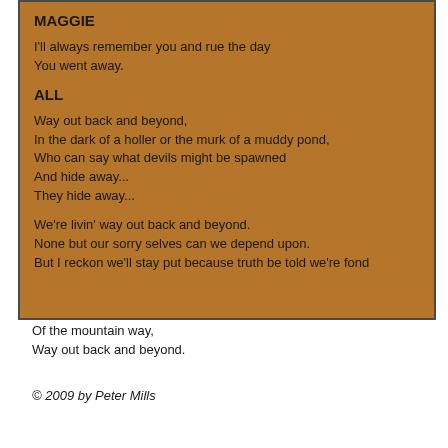MAGGIE
I'll always remember you and rue the day
You went away.
ALL
Way out back and beyond,
In the dark of a holler or the murk of a muddy pond,
Who can say what devils might be spawned
And hide away...
They hide away...
We're livin' way out back and beyond.
None but our sorry selves can we depend upon.
But I reckon we'll stay put because truth be told we're fond
Of the mountain way,
Way out back and beyond.
© 2009 by Peter Mills